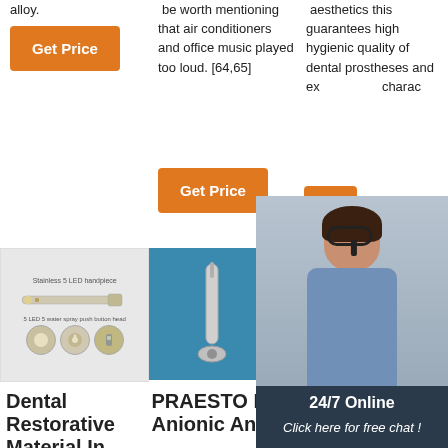alloy.
Get Price
be worth mentioning that air conditioners and office music played too loud. [64,65]
Get Price
aesthetics this guarantees high hygienic quality of dental prostheses and ex... operati... charac
Get
[Figure (infographic): 24/7 Online chat widget showing a customer service representative with headset, text 'Click here for free chat!' and a QUOTATION button]
[Figure (photo): Three product images: (1) Stainless 5 LED dental handpiece with component detail photos, (2) Dental handpiece on blue background, (3) Small dental product parts and spray canisters with TOP badge]
Dental Restorative Material In
PRAESTO L Anionic And
STRATEG IC ENERGY TECHNOI